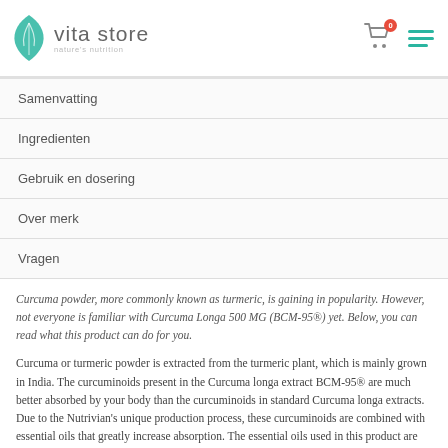vita store — nature's nutrition
Samenvatting
Ingredienten
Gebruik en dosering
Over merk
Vragen
Curcuma powder, more commonly known as turmeric, is gaining in popularity. However, not everyone is familiar with Curcuma Longa 500 MG (BCM-95®) yet. Below, you can read what this product can do for you.
Curcuma or turmeric powder is extracted from the turmeric plant, which is mainly grown in India. The curcuminoids present in the Curcuma longa extract BCM-95® are much better absorbed by your body than the curcuminoids in standard Curcuma longa extracts. Due to the Nutrivian's unique production process, these curcuminoids are combined with essential oils that greatly increase absorption. The essential oils used in this product are extracted from the root of the plant in the same way as the curcuminoids. BCM-95® exclusively contains